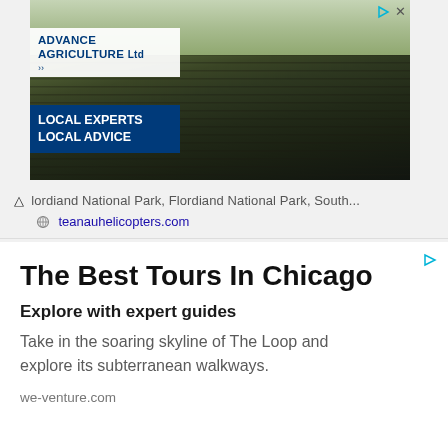[Figure (infographic): Advertisement banner for Advance Agriculture Ltd with a photo of a plowed agricultural field stretching to the horizon, with the company logo and blue overlay box reading LOCAL EXPERTS LOCAL ADVICE. Top-right shows ad controls (play icon, close X).]
...lordiand National Park, Flordiand National Park, South...
teanauhelicopters.com
[Figure (infographic): Google display advertisement for Chicago tours. Contains title 'The Best Tours In Chicago', subtitle 'Explore with expert guides', body text 'Take in the soaring skyline of The Loop and explore its subterranean walkways.', and domain 'we-venture.com'. Ad indicator triangle icon in top right.]